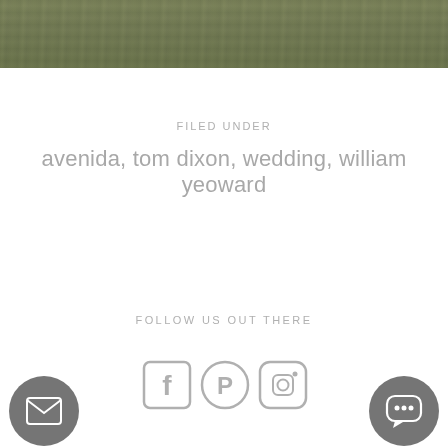[Figure (photo): Cropped photo of green grass lawn at the top of the page]
FILED UNDER
avenida, tom dixon, wedding, william yeoward
FOLLOW US OUT THERE
[Figure (other): Social media icons: Facebook, Pinterest, Instagram]